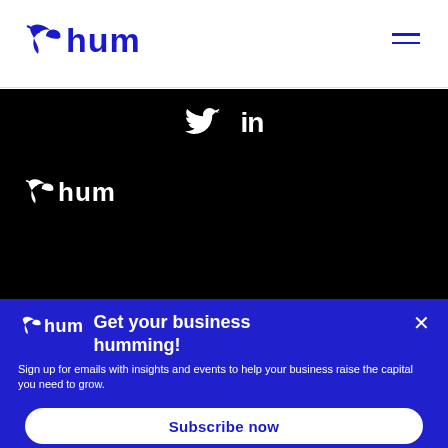[Figure (logo): Hum brand logo with hummingbird icon and 'hum' text in blue, top-left of white header bar]
[Figure (logo): Hamburger menu icon (two horizontal lines) in blue, top-right of header bar]
[Figure (logo): Twitter bird icon and LinkedIn 'in' text in white on black background]
[Figure (logo): Hum logo in white on black background]
Get your business humming!
Sign up for emails with insights and events to help your business raise the capital you need to grow.
Subscribe now